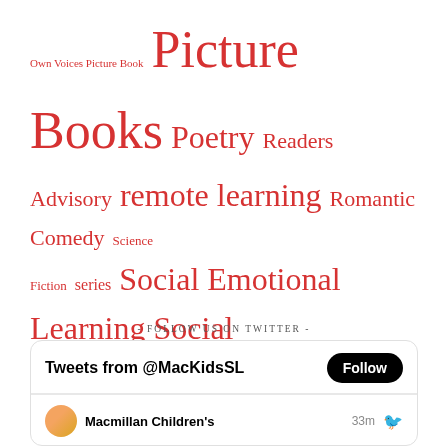Own Voices Picture Book  Picture Books  Poetry  Readers Advisory  remote learning  Romantic Comedy  Science Fiction  series  Social Emotional Learning  Social Studies  STEAM Reads  Summer Reading  Teaching Books  Thrillers  Virtual Storytime  webinar  Women's History  workbooks  writing tips  Young Adult
- FOLLOW US ON TWITTER -
Tweets from @MacKidsSL  Follow
Macmillan Children's  33m